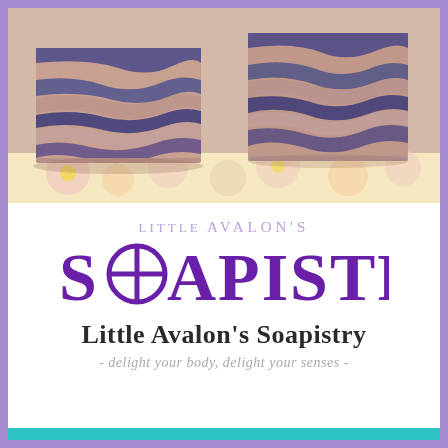[Figure (photo): Two handmade artisan soap bars with blue, mauve, and cream swirl patterns resting on a floral patterned surface]
[Figure (logo): Little Avalon's Soapistry logo with decorative cross-circle O, in purple and lavender]
Little Avalon's Soapistry
- delight your body, delight your senses -